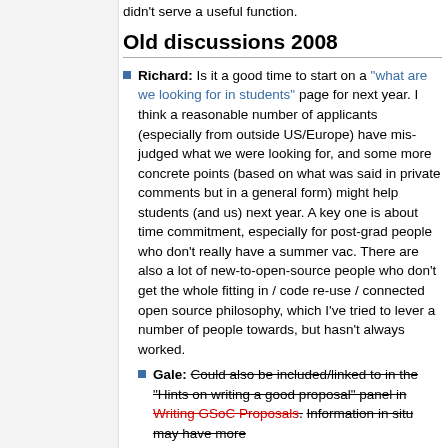didn't serve a useful function.
Old discussions 2008
Richard: Is it a good time to start on a "what are we looking for in students" page for next year. I think a reasonable number of applicants (especially from outside US/Europe) have mis-judged what we were looking for, and some more concrete points (based on what was said in private comments but in a general form) might help students (and us) next year. A key one is about time commitment, especially for post-grad people who don't really have a summer vac. There are also a lot of new-to-open-source people who don't get the whole fitting in / code re-use / connected open source philosophy, which I've tried to lever a number of people towards, but hasn't always worked.
Gale: Could also be included/linked to in the "Hints on writing a good proposal" panel in Writing GSoC Proposals. Information in situ may have more